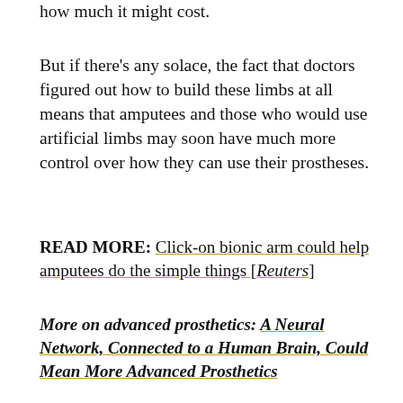how much it might cost.
But if there's any solace, the fact that doctors figured out how to build these limbs at all means that amputees and those who would use artificial limbs may soon have much more control over how they can use their prostheses.
READ MORE: Click-on bionic arm could help amputees do the simple things [Reuters]
More on advanced prosthetics: A Neural Network, Connected to a Human Brain, Could Mean More Advanced Prosthetics